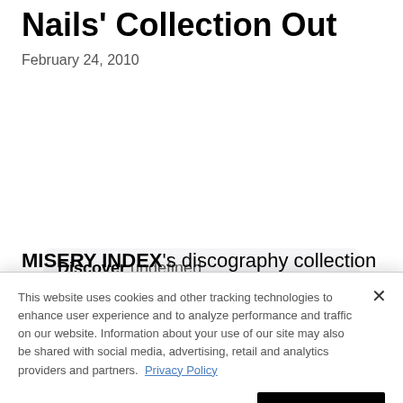Nails' Collection Out
February 24, 2010
[Figure (infographic): Apple Music advertisement banner with 'Discover undefined' heading, Apple Music logo, 'Stream over 90 million songs ad-free.' text, red 'Listen now' button, and phone image.]
MISERY INDEX's discography collection of splits
This website uses cookies and other tracking technologies to enhance user experience and to analyze performance and traffic on our website. Information about your use of our site may also be shared with social media, advertising, retail and analytics providers and partners. Privacy Policy
Do Not Sell My Personal Information
Accept Cookies